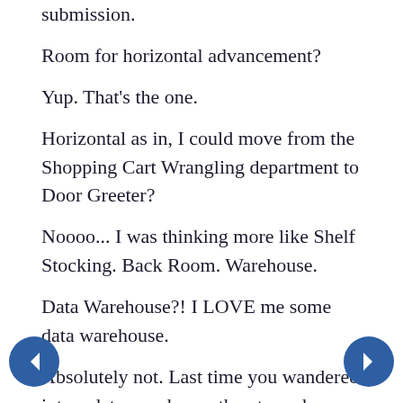submission.
Room for horizontal advancement?
Yup. That's the one.
Horizontal as in, I could move from the Shopping Cart Wrangling department to Door Greeter?
Noooo... I was thinking more like Shelf Stocking. Back Room. Warehouse.
Data Warehouse?! I LOVE me some data warehouse.
Absolutely not. Last time you wandered into a data warehouse they tossed your ass for... let me see...compliance issues.
Sam! That's stupid! I'm great at compliance.